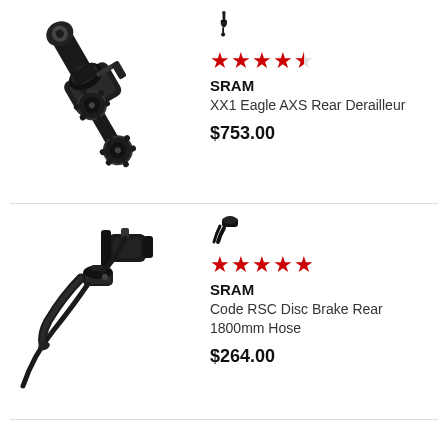[Figure (photo): SRAM XX1 Eagle AXS Rear Derailleur product photo, black component on white background]
[Figure (illustration): Small SRAM rear derailleur brand icon/logo]
★★★★½ (4.5 stars)
SRAM
XX1 Eagle AXS Rear Derailleur
$753.00
[Figure (photo): SRAM Code RSC Disc Brake Rear 1800mm Hose product photo, black component with lever and hose on white background]
[Figure (illustration): Small SRAM disc brake brand icon/logo]
★★★★★ (5 stars)
SRAM
Code RSC Disc Brake Rear 1800mm Hose
$264.00